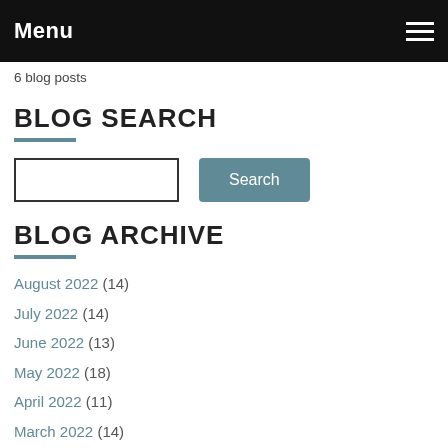Menu
6 blog posts
BLOG SEARCH
[Search input field] [Search button]
BLOG ARCHIVE
August 2022 (14)
July 2022 (14)
June 2022 (13)
May 2022 (18)
April 2022 (11)
March 2022 (14)